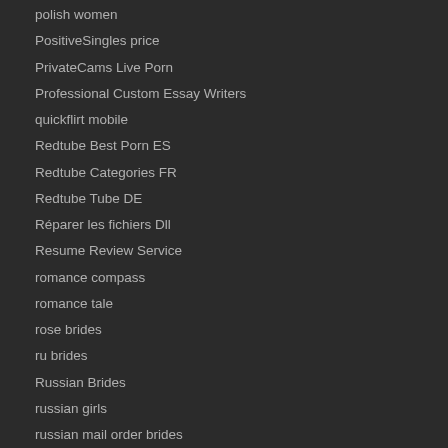polish women
PositiveSingles price
PrivateCams Live Porn
Professional Custom Essay Writers
quickflirt mobile
Redtube Best Porn ES
Redtube Categories FR
Redtube Tube DE
Réparer les fichiers Dll
Resume Review Service
romance compass
romance tale
rose brides
ru brides
Russian Brides
russian girls
russian mail order brides